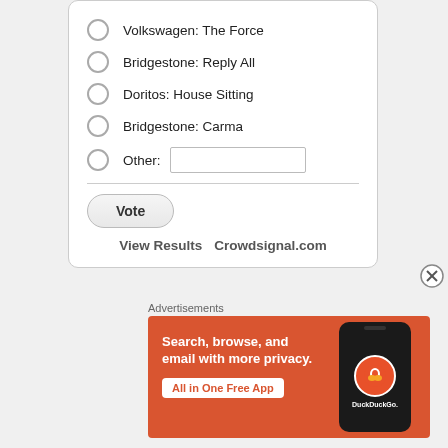Volkswagen: The Force
Bridgestone: Reply All
Doritos: House Sitting
Bridgestone: Carma
Other: [text input]
Vote
View Results   Crowdsignal.com
Advertisements
[Figure (screenshot): DuckDuckGo advertisement banner with orange background. Text reads: Search, browse, and email with more privacy. All in One Free App. Shows a phone with the DuckDuckGo logo.]